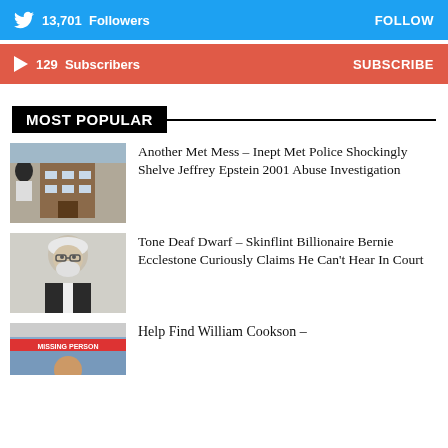[Figure (infographic): Twitter follow bar: 13,701 Followers with FOLLOW button]
[Figure (infographic): YouTube subscribe bar: 129 Subscribers with SUBSCRIBE button]
MOST POPULAR
[Figure (photo): Photo of a woman and a brick building exterior]
Another Met Mess – Inept Met Police Shockingly Shelve Jeffrey Epstein 2001 Abuse Investigation
[Figure (illustration): Sketch illustration of an elderly white-haired man in a suit]
Tone Deaf Dwarf – Skinflint Billionaire Bernie Ecclestone Curiously Claims He Can't Hear In Court
[Figure (photo): Missing person image with red banner]
Help Find William Cookson –